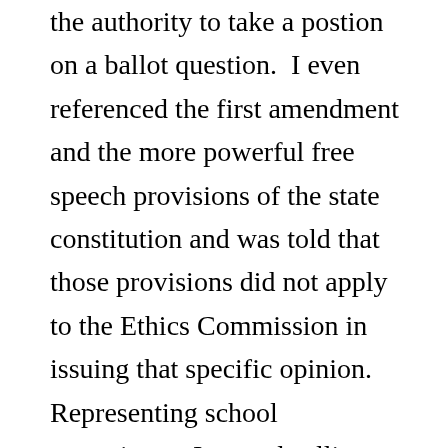the authority to take a postion on a ballot question.  I even referenced the first amendment and the more powerful free speech provisions of the state constitution and was told that those provisions did not apply to the Ethics Commission in issuing that specific opinion.   Representing school committees, I started calling newspapers and radio stations to tell them of this opinion.  In fact, several school committee wre prepared to (and one did) take a public stance on last year's ballot questions hoping to be citied so they could